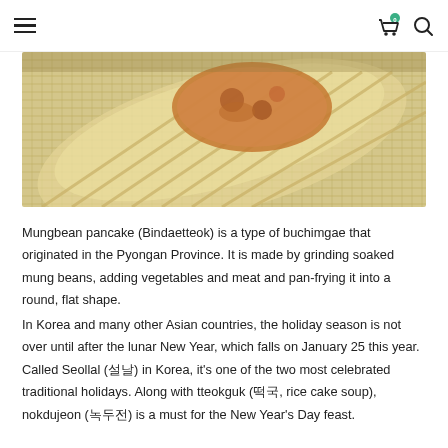≡  [cart icon with badge 0]  [search icon]
[Figure (photo): Close-up photo of mungbean pancake (bindaetteok) in a woven bamboo basket on a woven mat background. The food shows a round, flat, golden-brown fried pancake. The basket is light tan/straw colored.]
Mungbean pancake (Bindaetteok) is a type of buchimgae that originated in the Pyongan Province. It is made by grinding soaked mung beans, adding vegetables and meat and pan-frying it into a round, flat shape.
In Korea and many other Asian countries, the holiday season is not over until after the lunar New Year, which falls on January 25 this year. Called Seollal (설날) in Korea, it's one of the two most celebrated traditional holidays. Along with tteokguk (떡국, rice cake soup), nokdujeon (녹두전) is a must for the New Year's Day feast.